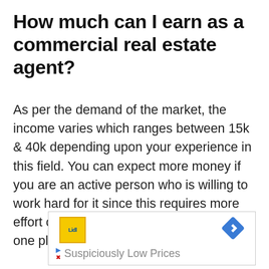How much can I earn as a commercial real estate agent?
As per the demand of the market, the income varies which ranges between 15k & 40k depending upon your experience in this field. You can expect more money if you are an active person who is willing to work hard for it since this requires more effort on your part rather than sitting idle in one place.
[Figure (other): Advertisement banner showing Lidl logo and a blue navigation/direction diamond icon with text 'Suspiciously Low Prices' and a play/close button on the left.]